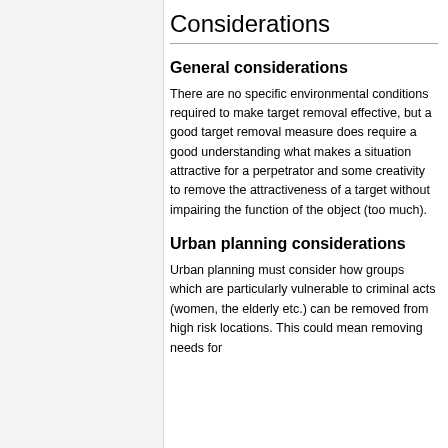Considerations
General considerations
There are no specific environmental conditions required to make target removal effective, but a good target removal measure does require a good understanding what makes a situation attractive for a perpetrator and some creativity to remove the attractiveness of a target without impairing the function of the object (too much).
Urban planning considerations
Urban planning must consider how groups which are particularly vulnerable to criminal acts (women, the elderly etc.) can be removed from high risk locations. This could mean removing needs for